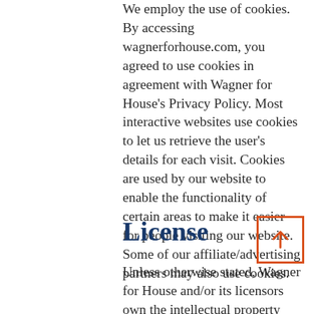We employ the use of cookies. By accessing wagnerforhouse.com, you agreed to use cookies in agreement with Wagner for House's Privacy Policy. Most interactive websites use cookies to let us retrieve the user's details for each visit. Cookies are used by our website to enable the functionality of certain areas to make it easier for people visiting our website. Some of our affiliate/advertising partners may also use cookies.
License
Unless otherwise stated, Wagner for House and/or its licensors own the intellectual property rights for all material on wagnerforhouse.com. All intellectual property rights are reserved.